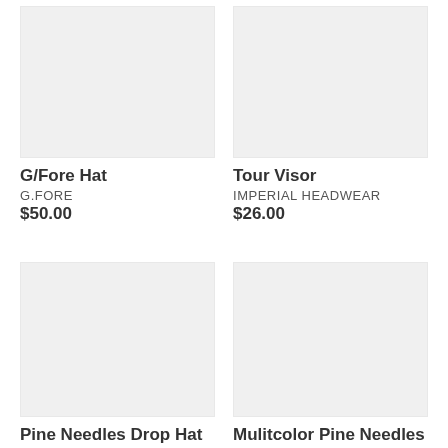[Figure (photo): Product image placeholder for G/Fore Hat - light gray rectangle]
G/Fore Hat
G.FORE
$50.00
[Figure (photo): Product image placeholder for Tour Visor - light gray rectangle]
Tour Visor
IMPERIAL HEADWEAR
$26.00
[Figure (photo): Product image placeholder for Pine Needles Drop Hat - light gray rectangle]
Pine Needles Drop Hat
[Figure (photo): Product image placeholder for Mulitcolor Pine Needles - light gray rectangle]
Mulitcolor Pine Needles